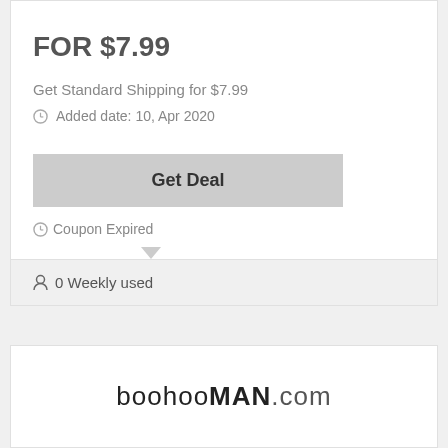FOR $7.99
Get Standard Shipping for $7.99
Added date: 10, Apr 2020
Get Deal
Coupon Expired
0 Weekly used
[Figure (logo): boohooMAN.com logo in black text]